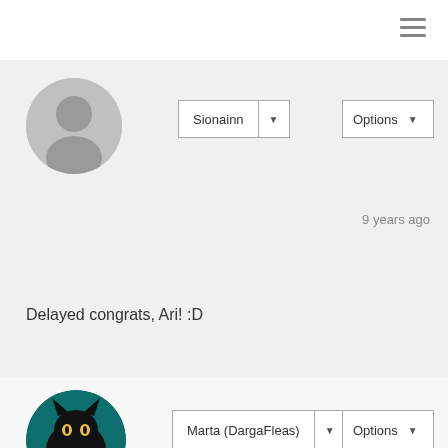[Figure (screenshot): Hamburger menu icon (three horizontal lines) in top right corner]
[Figure (photo): Default grey silhouette user avatar, circular crop]
Sionainn ▾
Options ▾
9 years ago
Delayed congrats, Ari! :D
[Figure (photo): Profile photo of Marta (DargaFleas) showing a black cat with teal background, circular crop, watermark text 'Darga Flea']
Marta (DargaFleas) ▾
Options ▾
8 years ago